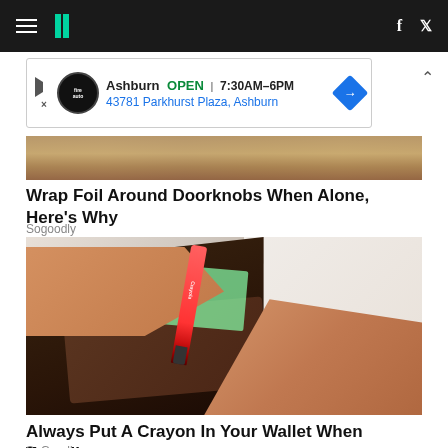HuffPost navigation bar with hamburger menu, HP logo, Facebook and Twitter icons
[Figure (screenshot): Advertisement banner: Ashburn OPEN 7:30AM-6PM, 43781 Parkhurst Plaza, Ashburn, with auto service logo and navigation arrow]
[Figure (photo): Partial image of a doorknob/metallic surface at top]
Wrap Foil Around Doorknobs When Alone, Here's Why
Sogoodly
[Figure (photo): Hands holding open a brown leather wallet with a Crayola crayon and euro banknotes inside]
Always Put A Crayon In Your Wallet When Traveling
SoGoodly